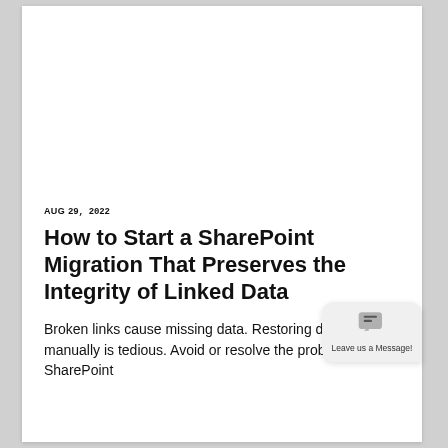[Figure (other): Large white/blank image area at top of page]
AUG 29, 2022
How to Start a SharePoint Migration That Preserves the Integrity of Linked Data
Broken links cause missing data. Restoring data manually is tedious. Avoid or resolve the problem in SharePoint